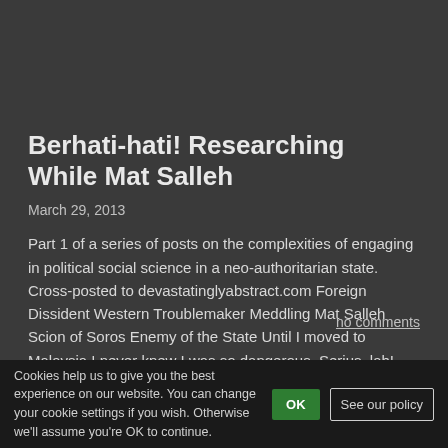Berhati-hati! Researching While Mat Salleh
March 29, 2013
Part 1 of a series of posts on the complexities of engaging in political social science in a neo-authoritarian state. Cross-posted to devastatinglyabstract.com Foreign Dissident Western Troublemaker Meddling Mat Salleh Scion of Soros Enemy of the State Until I moved to Malaysia I never knew I was so dangerous. Serius, lah! You probably think I'm …
no comments
more...
Cookies help us to give you the best experience on our website. You can change your cookie settings if you wish. Otherwise we'll assume you're OK to continue.